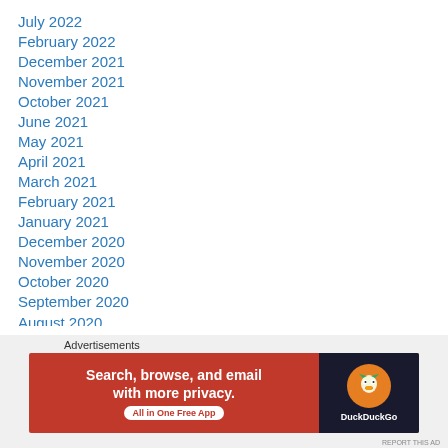July 2022
February 2022
December 2021
November 2021
October 2021
June 2021
May 2021
April 2021
March 2021
February 2021
January 2021
December 2020
November 2020
October 2020
September 2020
August 2020
Advertisements
[Figure (infographic): DuckDuckGo advertisement banner: Search, browse, and email with more privacy. All in One Free App. Shows DuckDuckGo logo on dark background.]